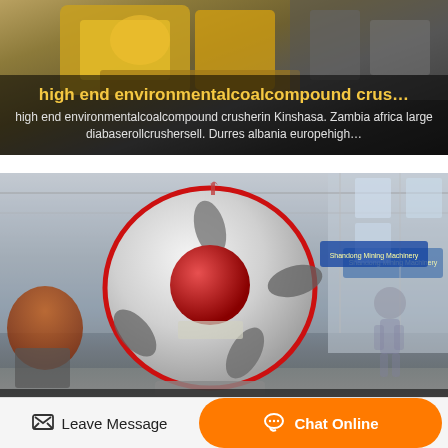[Figure (photo): Photo of a yellow/orange industrial compound crusher machine, partially visible at top of card]
high end environmentalcoalcompound crus…
high end environmentalcoalcompound crusherin Kinshasa. Zambia africa large diabaserollcrushersell. Durres albania europehigh…
[Figure (photo): Photo of a large white and red industrial mineral compound crusher machine in a factory warehouse, with machinery and signage visible in background]
high endmineralcompound crushersell it at…
highendmedium bauxite conecrusher sell in Makurdi